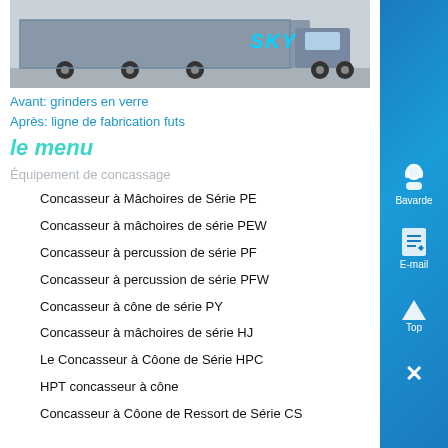[Figure (photo): A large truck/transport vehicle with SKY branding on the side, parked outdoors. The truck is grey and appears to be a heavy industrial vehicle.]
Avant: grinders en verre
Après: ligne de fabrication futs
le menu
Équipement de concassage
Concasseur à Mâchoires de Série PE
Concasseur à mâchoires de série PEW
Concasseur à percussion de série PF
Concasseur à percussion de série PFW
Concasseur à cône de série PY
Concasseur à mâchoires de série HJ
Le Concasseur à Côone de Série HPC
HPT concasseur à cône
Concasseur à Côone de Ressort de Série CS